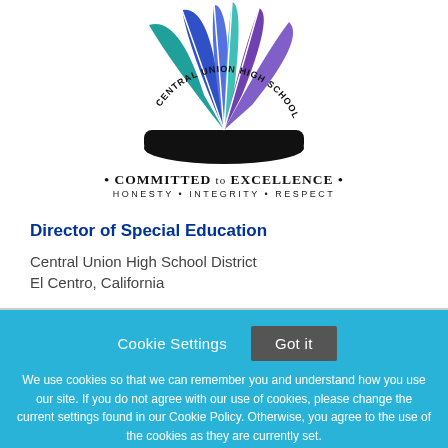[Figure (logo): Central Union High School District logo — a colorful fan/book shape with blue, teal, and purple sections, with the district name in an arc around it. Below: '• COMMITTED TO EXCELLENCE •' and 'HONESTY • INTEGRITY • RESPECT']
Director of Special Education
Central Union High School District
El Centro, California
Cookie Settings  Got it

We use cookies so that we can remember you and understand how you use our site. If you do not agree with our use of cookies, please change the current settings found in our Cookie Policy. Otherwise, you agree to the use of the cookies as they are currently set.